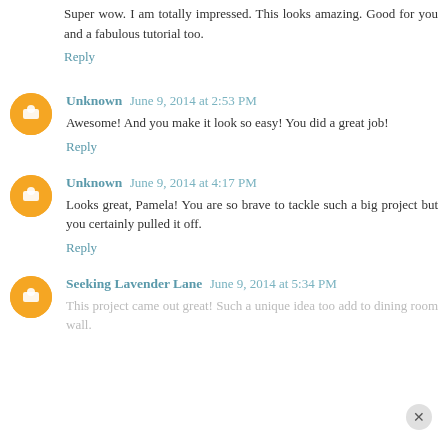Super wow. I am totally impressed. This looks amazing. Good for you and a fabulous tutorial too.
Reply
Unknown  June 9, 2014 at 2:53 PM
Awesome! And you make it look so easy! You did a great job!
Reply
Unknown  June 9, 2014 at 4:17 PM
Looks great, Pamela! You are so brave to tackle such a big project but you certainly pulled it off.
Reply
Seeking Lavender Lane  June 9, 2014 at 5:34 PM
This project came out great! Such a unique idea too add to dining room wall.